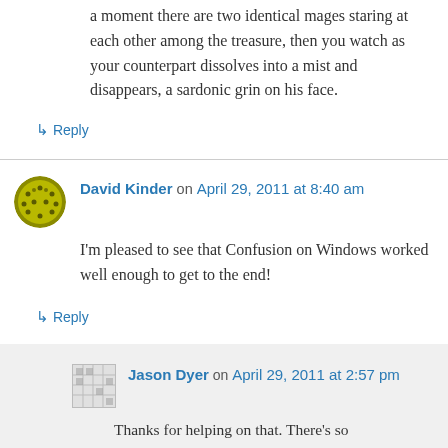a moment there are two identical mages staring at each other among the treasure, then you watch as your counterpart dissolves into a mist and disappears, a sardonic grin on his face.
↳ Reply
David Kinder on April 29, 2011 at 8:40 am
I'm pleased to see that Confusion on Windows worked well enough to get to the end!
↳ Reply
Jason Dyer on April 29, 2011 at 2:57 pm
Thanks for helping on that. There's so